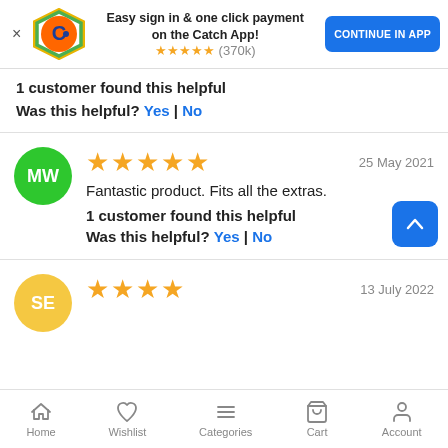[Figure (screenshot): Catch app banner with logo, text 'Easy sign in & one click payment on the Catch App!' and CONTINUE IN APP button]
1 customer found this helpful
Was this helpful? Yes | No
MW avatar, 5 stars, 25 May 2021, Fantastic product. Fits all the extras. 1 customer found this helpful. Was this helpful? Yes | No
SE avatar, 4 stars, 13 July 2022
Home  Wishlist  Categories  Cart  Account